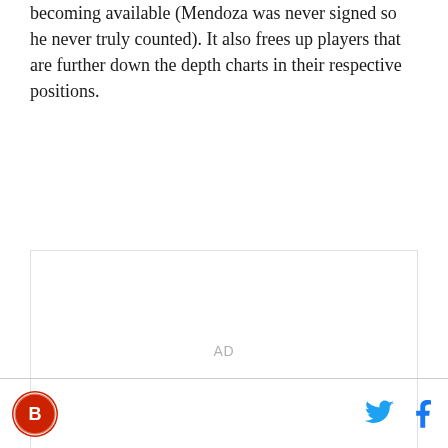becoming available (Mendoza was never signed so he never truly counted). It also frees up players that are further down the depth charts in their respective positions.
[Figure (other): Advertisement placeholder box with 'AD' label in center]
Site logo (red circle with white icon) on the left; Twitter and Facebook icons on the right